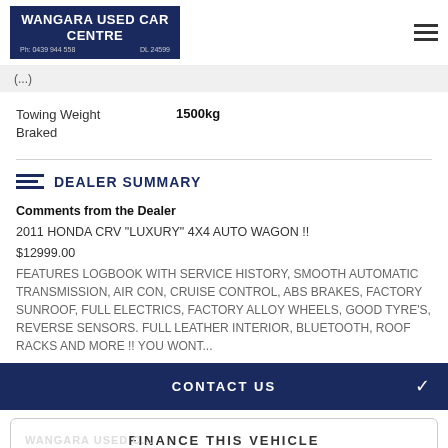WANGARA USED CAR CENTRE Ph: 0439 944 558  DL 24599
(...)
Towing Weight Braked  1500kg
DEALER SUMMARY
Comments from the Dealer
2011 HONDA CRV "LUXURY" 4X4 AUTO WAGON !!
$12999.00
FEATURES LOGBOOK WITH SERVICE HISTORY, SMOOTH AUTOMATIC TRANSMISSION, AIR CON, CRUISE CONTROL, ABS BRAKES, FACTORY SUNROOF, FULL ELECTRICS, FACTORY ALLOY WHEELS, GOOD TYRE'S, REVERSE SENSORS. FULL LEATHER INTERIOR, BLUETOOTH, ROOF RACKS AND MORE !! YOU WONT...
CONTACT US
FINANCE THIS VEHICLE